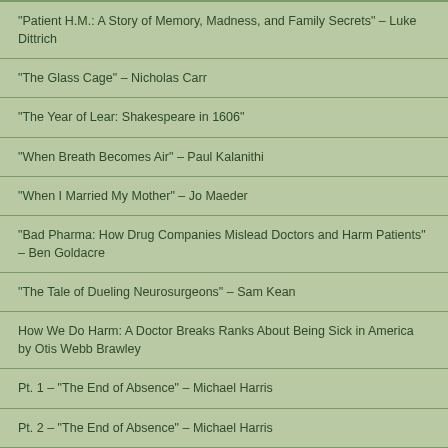"Patient H.M.: A Story of Memory, Madness, and Family Secrets" – Luke Dittrich
"The Glass Cage" – Nicholas Carr
"The Year of Lear: Shakespeare in 1606"
"When Breath Becomes Air" – Paul Kalanithi
"When I Married My Mother" – Jo Maeder
"Bad Pharma: How Drug Companies Mislead Doctors and Harm Patients" – Ben Goldacre
"The Tale of Dueling Neurosurgeons" – Sam Kean
How We Do Harm: A Doctor Breaks Ranks About Being Sick in America by Otis Webb Brawley
Pt. 1 – "The End of Absence" – Michael Harris
Pt. 2 – "The End of Absence" – Michael Harris
Pt. 3 – "The End of Absence" – Michael Harris
Solitude – Michael Harris
The Trip to Echo Spring – Olivia Laing